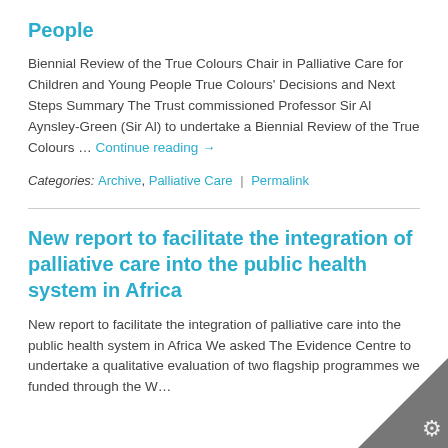People
Biennial Review of the True Colours Chair in Palliative Care for Children and Young People True Colours' Decisions and Next Steps Summary The Trust commissioned Professor Sir Al Aynsley-Green (Sir Al) to undertake a Biennial Review of the True Colours … Continue reading →
Categories: Archive, Palliative Care | Permalink
New report to facilitate the integration of palliative care into the public health system in Africa
New report to facilitate the integration of palliative care into the public health health system in Africa We asked The Evidence Centre to undertake a qualitative evaluation of two flagship programmes we funded through the W…